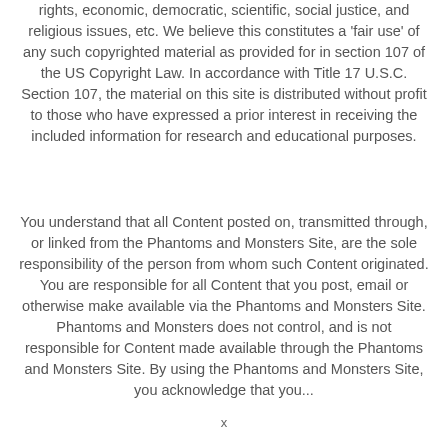rights, economic, democratic, scientific, social justice, and religious issues, etc. We believe this constitutes a 'fair use' of any such copyrighted material as provided for in section 107 of the US Copyright Law. In accordance with Title 17 U.S.C. Section 107, the material on this site is distributed without profit to those who have expressed a prior interest in receiving the included information for research and educational purposes.
You understand that all Content posted on, transmitted through, or linked from the Phantoms and Monsters Site, are the sole responsibility of the person from whom such Content originated. You are responsible for all Content that you post, email or otherwise make available via the Phantoms and Monsters Site. Phantoms and Monsters does not control, and is not responsible for Content made available through the Phantoms and Monsters Site. By using the Phantoms and Monsters Site, you acknowledge that you...
x